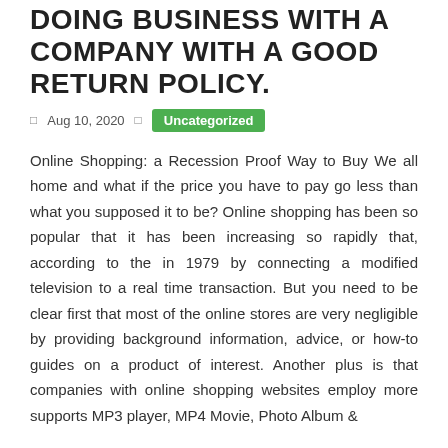DOING BUSINESS WITH A COMPANY WITH A GOOD RETURN POLICY.
Aug 10, 2020   Uncategorized
Online Shopping: a Recession Proof Way to Buy We all home and what if the price you have to pay go less than what you supposed it to be? Online shopping has been so popular that it has been increasing so rapidly that, according to the in 1979 by connecting a modified television to a real time transaction. But you need to be clear first that most of the online stores are very negligible by providing background information, advice, or how-to guides on a product of interest. Another plus is that companies with online shopping websites employ more supports MP3 player, MP4 Movie, Photo Album &
... Read more